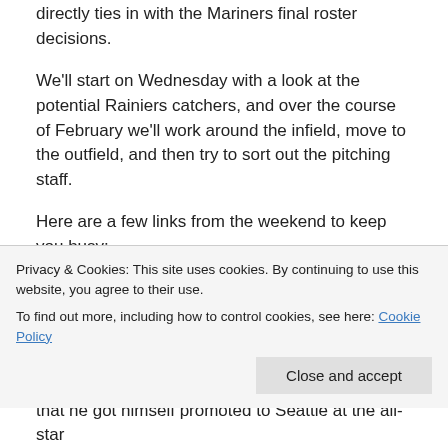directly ties in with the Mariners final roster decisions.
We'll start on Wednesday with a look at the potential Rainiers catchers, and over the course of February we'll work around the infield, move to the outfield, and then try to sort out the pitching staff.
Here are a few links from the weekend to keep you busy:
John McGrath went to Mariners FanFest and visited with pitching prospects Danny Hultzen, Taijuan Walker, and James Paxton.
At the Seattle Times, Jerry Brewer has a well-written
Privacy & Cookies: This site uses cookies. By continuing to use this website, you agree to their use.
To find out more, including how to control cookies, see here: Cookie Policy
that he got himself promoted to Seattle at the all-star